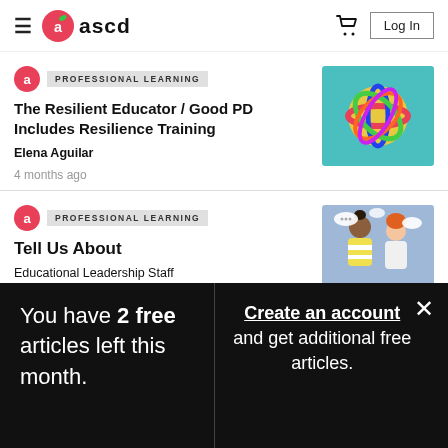ASCD — hamburger menu, logo, cart, Log In
PROFESSIONAL LEARNING
The Resilient Educator / Good PD Includes Resilience Training
Elena Aguilar
4 months ago
[Figure (photo): Colorful rubber band ball on teal background]
PROFESSIONAL LEARNING
Tell Us About
Educational Leadership Staff
[Figure (illustration): Two illustrated people with speech bubbles on blue background]
You have 2 free articles left this month.
Create an account and get additional free articles.